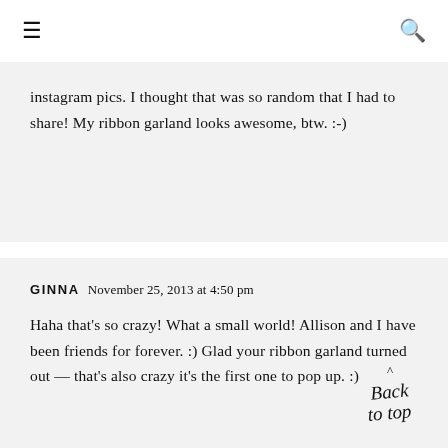≡  🔍
instagram pics. I thought that was so random that I had to share! My ribbon garland looks awesome, btw. :-)
GINNA November 25, 2013 at 4:50 pm

Haha that's so crazy! What a small world! Allison and I have been friends for forever. :) Glad your ribbon garland turned out — that's also crazy it's the first one to pop up. :)
[Figure (illustration): Handwritten cursive 'Back to top' text with a caret/arrow above it, used as a back-to-top navigation button]